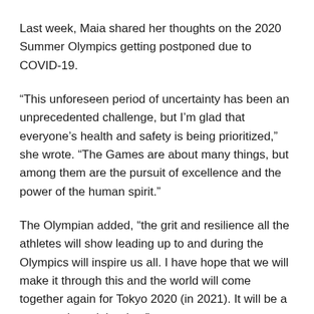Last week, Maia shared her thoughts on the 2020 Summer Olympics getting postponed due to COVID-19.
“This unforeseen period of uncertainty has been an unprecedented challenge, but I’m glad that everyone’s health and safety is being prioritized,” she wrote. “The Games are about many things, but among them are the pursuit of excellence and the power of the human spirit.”
The Olympian added, “the grit and resilience all the athletes will show leading up to and during the Olympics will inspire us all. I have hope that we will make it through this and the world will come together again for Tokyo 2020 (in 2021). It will be a spectacular celebration.”
As of Friday, there are at least 272,502 confirmed cases of COVID-19 in the United States, with 7,046 deaths related to the